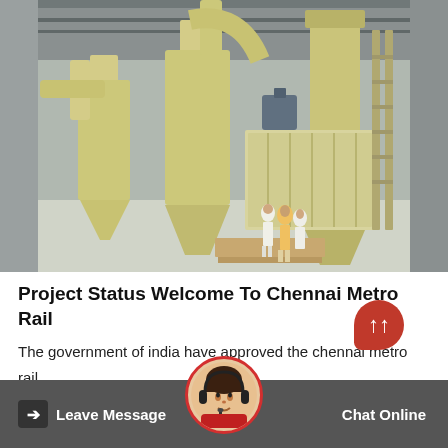[Figure (photo): Industrial factory interior showing large yellow industrial equipment, dust collectors, pipes and silos inside a warehouse. Two workers in white clothes visible near the machinery.]
Project Status Welcome To Chennai Metro Rail
The government of india have approved the chennai metro rail project on 15.6.2016. the estimated base cost of this project is abo... rs.3770 cr, of this, 57 of loan g... by the japan international…